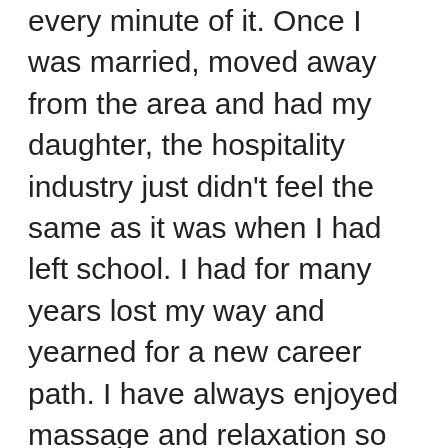every minute of it. Once I was married, moved away from the area and had my daughter, the hospitality industry just didn't feel the same as it was when I had left school. I had for many years lost my way and yearned for a new career path. I have always enjoyed massage and relaxation so when I found massage courses that fit into my daily schedule I jumped at the chance to learn. Once completed I set up my business and set about my new found venture in Massage and relaxation. I am a member of the Complementary Therapists Accredited Association and my details can be found on their website. All certificates are available to see at your booked appointment. I offer services to both men and women of all ethnicities and ages (please note; You must be at least 18 years old to access my services). The appointment and treatment are tailored to your needs and will be informed at your